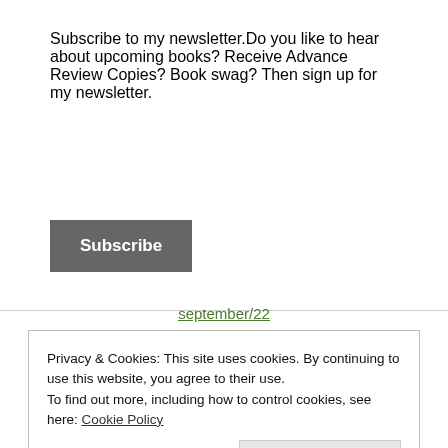×
Subscribe to my newsletter.Do you like to hear about upcoming books? Receive Advance Review Copies? Book swag? Then sign up for my newsletter.
Subscribe
september/22
Wendy Laharnar
and
Loveahappyending Lifestyle magazine
Privacy & Cookies: This site uses cookies. By continuing to use this website, you agree to their use.
To find out more, including how to control cookies, see here: Cookie Policy
Close and accept
Blog: Celtic Connexions